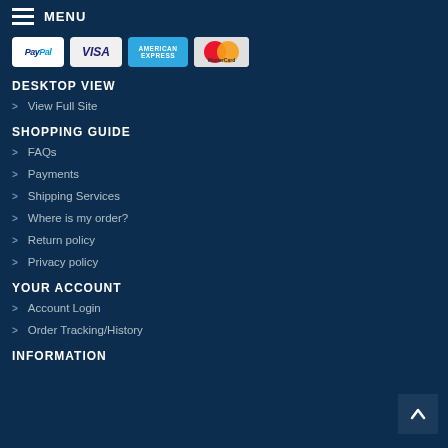MENU
[Figure (logo): Payment method logos: PayPal, VISA, American Express, MasterCard]
DESKTOP VIEW
> View Full Site
SHOPPING GUIDE
> FAQs
> Payments
> Shipping Services
> Where is my order?
> Return policy
> Privacy policy
YOUR ACCOUNT
> Account Login
> Order Tracking/History
INFORMATION